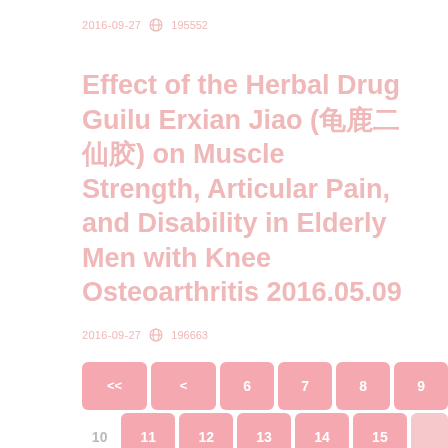2016-09-27   195552
Effect of the Herbal Drug Guilu Erxian Jiao (龟鹿二仙胶) on Muscle Strength, Articular Pain, and Disability in Elderly Men with Knee Osteoarthritis 2016.05.09
2016-09-27   196663
[Figure (other): Pagination control buttons: << < 6 7 8 9 / 10 11 12 13 14 15 [blank] / > >>]